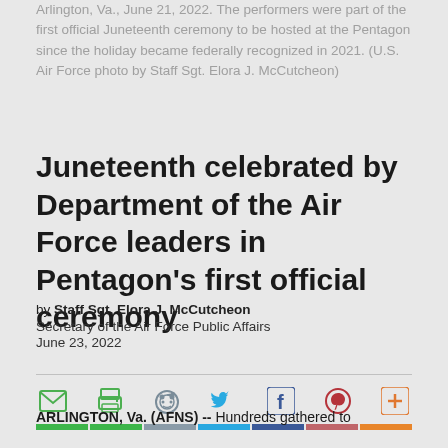Arlington, Va., June 21, 2022. The performers were part of the first official Juneteenth ceremony to be hosted at the Pentagon since the holiday became federally recognized in 2021. (U.S. Air Force photo by Staff Sgt. Elora J. McCutcheon)
Juneteenth celebrated by Department of the Air Force leaders in Pentagon's first official ceremony
by Staff Sgt. Elora J. McCutcheon
Secretary of the Air Force Public Affairs
June 23, 2022
[Figure (infographic): Social media share icons row: email (green envelope), print (green printer), Reddit (gray alien logo), Twitter (blue bird), Facebook (blue f), Pinterest (red P), share (orange plus). Below icons are colored bars matching each icon's brand color.]
ARLINGTON, Va. (AFNS) -- Hundreds gathered to